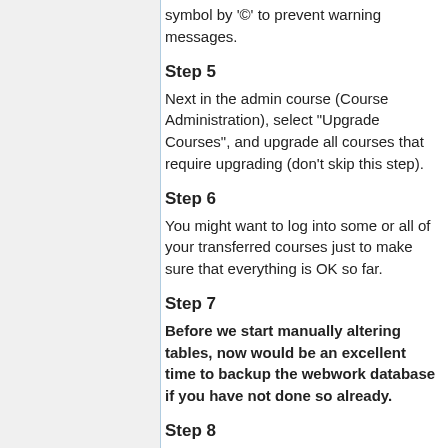symbol by '©' to prevent warning messages.
Step 5
Next in the admin course (Course Administration), select "Upgrade Courses", and upgrade all courses that require upgrading (don't skip this step).
Step 6
You might want to log into some or all of your transferred courses just to make sure that everything is OK so far.
Step 7
Before we start manually altering tables, now would be an excellent time to backup the webwork database if you have not done so already.
Step 8